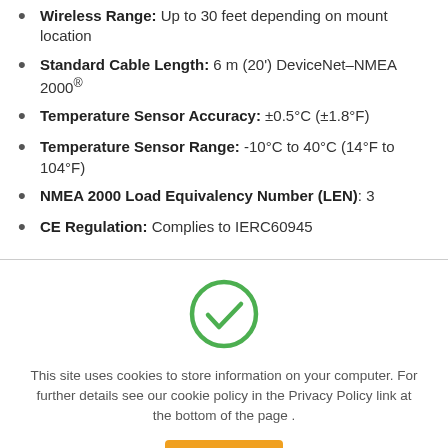Wireless Range: Up to 30 feet depending on mount location
Standard Cable Length: 6 m (20') DeviceNet–NMEA 2000®
Temperature Sensor Accuracy: ±0.5°C (±1.8°F)
Temperature Sensor Range: -10°C to 40°C (14°F to 104°F)
NMEA 2000 Load Equivalency Number (LEN): 3
CE Regulation: Complies to IERC60945
[Figure (illustration): Green circle with a checkmark icon, indicating success or acceptance]
This site uses cookies to store information on your computer. For further details see our cookie policy in the Privacy Policy link at the bottom of the page .